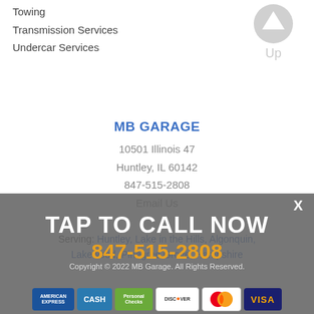Towing
Transmission Services
Undercar Services
[Figure (illustration): Up arrow button (scroll to top) with 'Up' label]
MB GARAGE
10501 Illinois 47
Huntley, IL 60142
847-515-2808
Email Us
Serving: Huntley, Lake in the Hills, Algonquin, Lakewood, Pinegree Grove, Hampshire
TAP TO CALL NOW
847-515-2808
Copyright © 2022 MB Garage. All Rights Reserved.
[Figure (illustration): Payment method icons: American Express, Cash, Personal Checks, Discover, Mastercard, Visa]